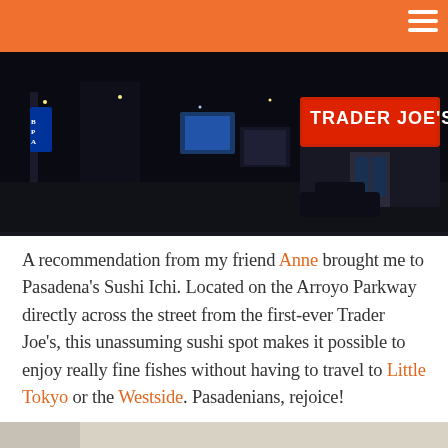[Figure (photo): Nighttime exterior photo of a strip mall showing a Trader Joe's illuminated sign in red and white, with dark surroundings and parking lot.]
A recommendation from my friend Anne brought me to Pasadena's Sushi Ichi. Located on the Arroyo Parkway directly across the street from the first-ever Trader Joe's, this unassuming sushi spot makes it possible to enjoy really fine fishes without having to travel to Little Tokyo or the Westside. Pasadenians, rejoice!
[Figure (photo): Interior photo of a restaurant, showing a light-colored wall and a partial view of a dark-framed element in the lower right corner.]